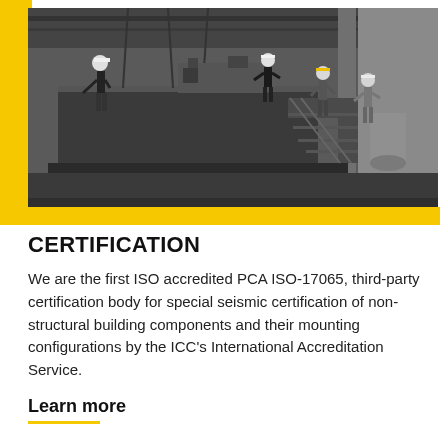[Figure (photo): Black and white photo of workers in hard hats on an industrial platform or testing facility with heavy equipment and machinery]
CERTIFICATION
We are the first ISO accredited PCA ISO-17065, third-party certification body for special seismic certification of non-structural building components and their mounting configurations by the ICC's International Accreditation Service.
Learn more